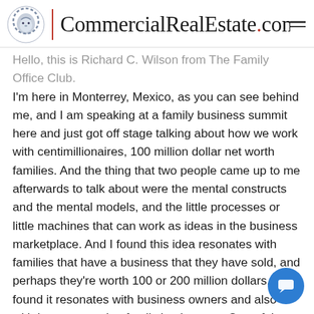CommercialRealEstate.com
Hello, this is Richard C. Wilson from The Family Office Club. I'm here in Monterrey, Mexico, as you can see behind me, and I am speaking at a family business summit here and just got off stage talking about how we work with centimillionaires, 100 million dollar net worth families. And the thing that two people came up to me afterwards to talk about were the mental constructs and the mental models, and the little processes or little machines that can work as ideas in the business marketplace. And I found this idea resonates with families that have a business that they have sold, and perhaps they're worth 100 or 200 million dollars. I found it resonates with business owners and also with larger operating family businesses. One of them I just had lunch with has over 5000 employees, for example. And the stacking of different mental models when your energy is focused on the area where you created your wealth, family or on the area where you add the most value possible out of all the things you could be doing in your